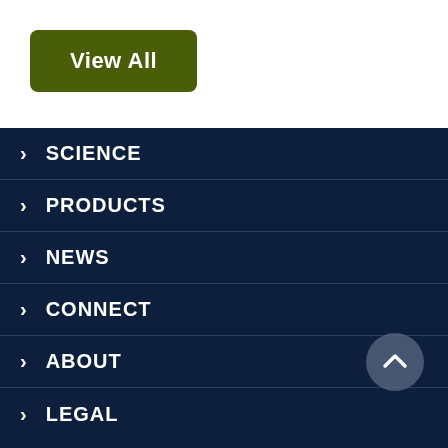View All
SCIENCE
PRODUCTS
NEWS
CONNECT
ABOUT
LEGAL